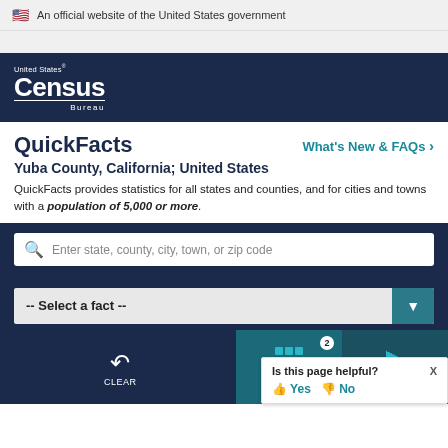An official website of the United States government
[Figure (logo): United States Census Bureau logo - white text on navy background]
QuickFacts
Yuba County, California; United States
QuickFacts provides statistics for all states and counties, and for cities and towns with a population of 5,000 or more.
Enter state, county, city, town, or zip code
-- Select a fact --
CLEAR
TABLE
MORE
Is this page helpful? Yes No